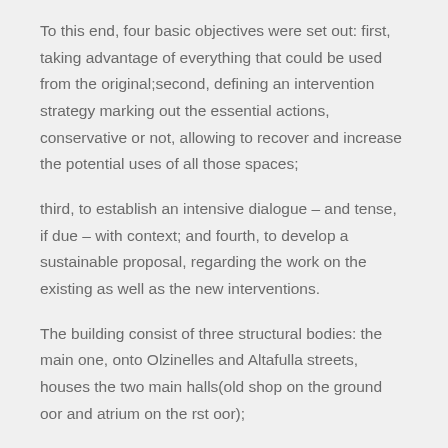To this end, four basic objectives were set out: first, taking advantage of everything that could be used from the original;second, defining an intervention strategy marking out the essential actions, conservative or not, allowing to recover and increase the potential uses of all those spaces;
third, to establish an intensive dialogue – and tense, if due – with context; and fourth, to develop a sustainable proposal, regarding the work on the existing as well as the new interventions.
The building consist of three structural bodies: the main one, onto Olzinelles and Altafulla streets, houses the two main halls(old shop on the ground oor and atrium on the rst oor);